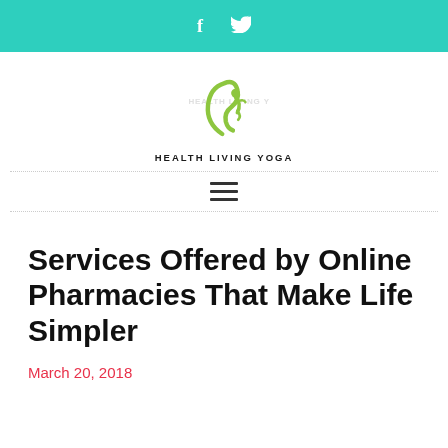f  [twitter icon]
[Figure (logo): Health Living Yoga logo — green stylized figure with curved line, text HEALTH LIVING YOGA below]
Services Offered by Online Pharmacies That Make Life Simpler
March 20, 2018